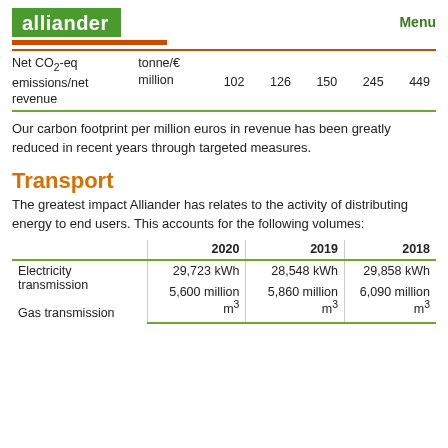alliander | Menu
| Net CO2-eq emissions/net revenue | tonne/€ million | 102 | 126 | 150 | 245 | 449 |
| --- | --- | --- | --- | --- | --- | --- |
Our carbon footprint per million euros in revenue has been greatly reduced in recent years through targeted measures.
Transport
The greatest impact Alliander has relates to the activity of distributing energy to end users. This accounts for the following volumes:
|  | 2020 | 2019 | 2018 |
| --- | --- | --- | --- |
| Electricity transmission | 29,723 kWh | 28,548 kWh | 29,858 kWh |
| Gas transmission | 5,600 million m³ | 5,860 million m³ | 6,090 million m³ |